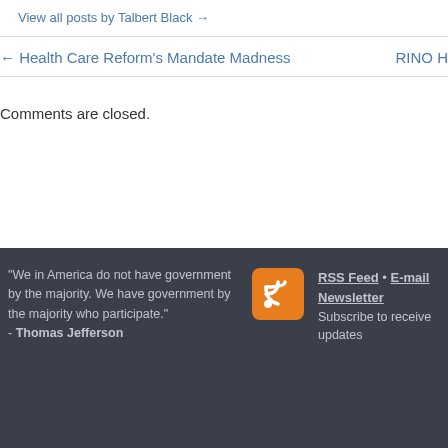View all posts by Talbert Black →
← Health Care Reform's Mandate Madness
RINO H
Comments are closed.
"We in America do not have government by the majority. We have government by the majority who participate." - Thomas Jefferson
RSS Feed • E-mail Newsletter Subscribe to receive updates